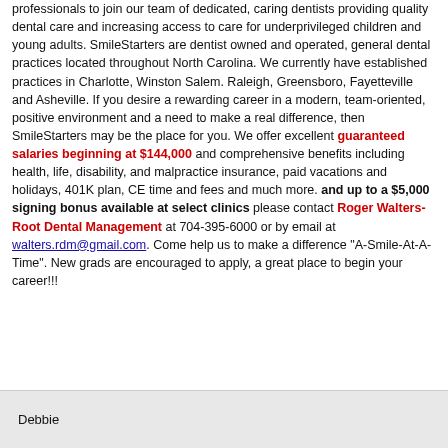professionals to join our team of dedicated, caring dentists providing quality dental care and increasing access to care for underprivileged children and young adults. SmileStarters are dentist owned and operated, general dental practices located throughout North Carolina. We currently have established practices in Charlotte, Winston Salem. Raleigh, Greensboro, Fayetteville and Asheville. If you desire a rewarding career in a modern, team-oriented, positive environment and a need to make a real difference, then SmileStarters may be the place for you. We offer excellent guaranteed salaries beginning at $144,000 and comprehensive benefits including health, life, disability, and malpractice insurance, paid vacations and holidays, 401K plan, CE time and fees and much more. and up to a $5,000 signing bonus available at select clinics please contact Roger Walters- Root Dental Management at 704-395-6000 or by email at walters.rdm@gmail.com. Come help us to make a difference "A-Smile-At-A-Time". New grads are encouraged to apply, a great place to begin your career!!!
Debbie